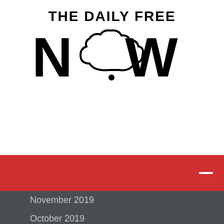[Figure (logo): The Daily Free Now logo — bold black text 'THE DAILY FREE' above large 'NOW' with a cloud/smoke shape replacing the letter O]
[Figure (other): Red horizontal banner bar with a white dash/minus icon on the right side]
November 2019
October 2019
September 2019
June 2019
May 2019